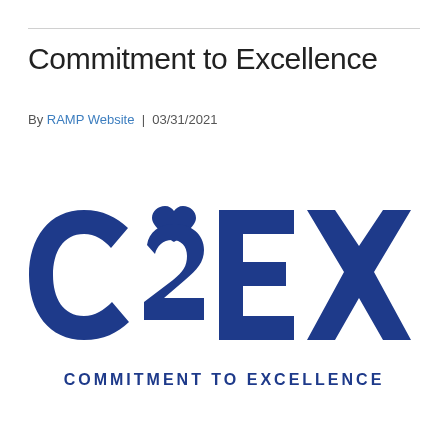Commitment to Excellence
By RAMP Website | 03/31/2021
[Figure (logo): C2EX logo — large bold blue letters 'C2EX' with a heart shape integrated into the '2', and below the text 'COMMITMENT TO EXCELLENCE' in spaced blue capital letters]